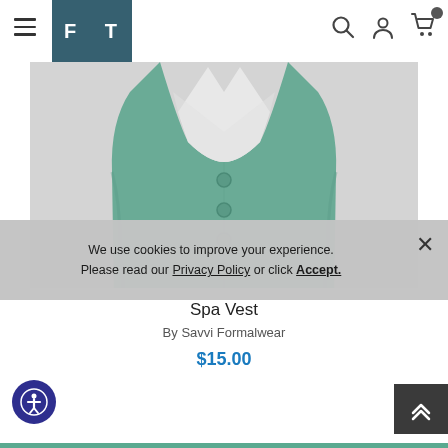FT (logo) — navigation header with hamburger menu, search, user, cart icons
[Figure (photo): A spa green/teal colored formal vest displayed flat on a light gray background. The vest has five buttons down the center front and a V-neckline.]
We use cookies to improve your experience. Please read our Privacy Policy or click Accept.
Spa Vest
By Savvi Formalwear
$15.00